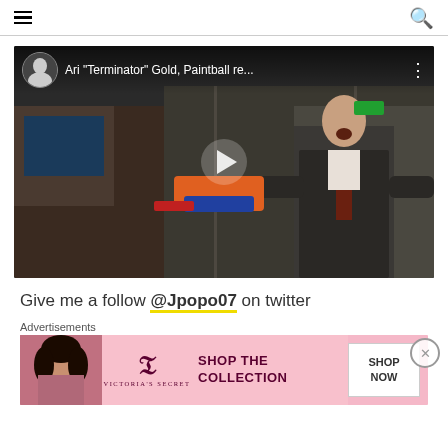Navigation menu and search icons
[Figure (screenshot): YouTube-style video thumbnail showing a man in a suit holding a Nerf gun in an office setting, with video title overlay 'Ari "Terminator" Gold, Paintball re...' and a play button]
Give me a follow @Jpopo07 on twitter
Advertisements
[Figure (other): Victoria's Secret advertisement banner showing a model, VS logo, 'SHOP THE COLLECTION' text, and 'SHOP NOW' button]